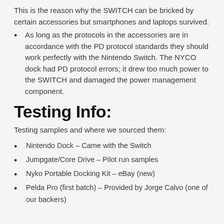This is the reason why the SWITCH can be bricked by certain accessories but smartphones and laptops survived.
As long as the protocols in the accessories are in accordance with the PD protocol standards they should work perfectly with the Nintendo Switch. The NYCO dock had PD protocol errors; it drew too much power to the SWITCH and damaged the power management component.
Testing Info:
Testing samples and where we sourced them:
Nintendo Dock – Came with the Switch
Jumpgate/Core Drive – Pilot run samples
Nyko Portable Docking Kit – eBay (new)
Pelda Pro (first batch) – Provided by Jorge Calvo (one of our backers)